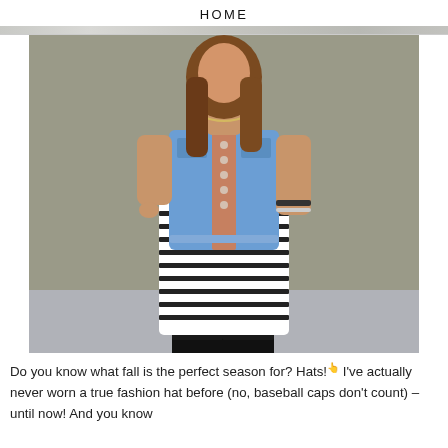HOME
[Figure (photo): A young woman wearing a striped black and white dress, a denim vest, and black ankle boots, standing against a grey wall outdoors.]
Do you know what fall is the perfect season for? Hats! I've actually never worn a true fashion hat before (no, baseball caps don't count) – until now! And you know